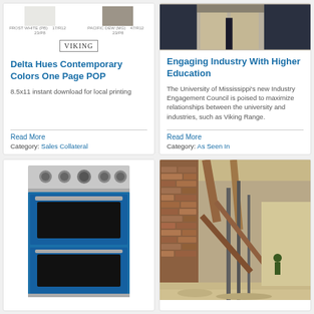[Figure (illustration): Color swatches showing Frost White and Pacific Dew colors with Viking logo]
Delta Hues Contemporary Colors One Page POP
8.5x11 instant download for local printing
Read More
Category: Sales Collateral
[Figure (photo): Person wearing khaki pants, standing near a window, partial view]
Engaging Industry With Higher Education
The University of Mississippi's new Industry Engagement Council is poised to maximize relationships between the university and industries, such as Viking Range.
Read More
Category: As Seen In
[Figure (photo): Blue Viking double wall oven with stainless steel top and black glass doors]
[Figure (photo): Interior construction scene showing exposed brick walls, wooden support beams, and construction workers]